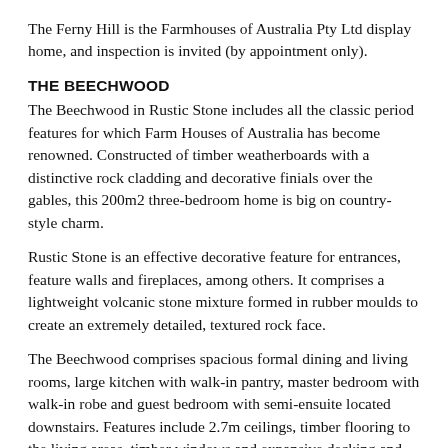The Ferny Hill is the Farmhouses of Australia Pty Ltd display home, and inspection is invited (by appointment only).
THE BEECHWOOD
The Beechwood in Rustic Stone includes all the classic period features for which Farm Houses of Australia has become renowned. Constructed of timber weatherboards with a distinctive rock cladding and decorative finials over the gables, this 200m2 three-bedroom home is big on country-style charm.
Rustic Stone is an effective decorative feature for entrances, feature walls and fireplaces, among others. It comprises a lightweight volcanic stone mixture formed in rubber moulds to create an extremely detailed, textured rock face.
The Beechwood comprises spacious formal dining and living rooms, large kitchen with walk-in pantry, master bedroom with walk-in robe and guest bedroom with semi-ensuite located downstairs. Features include 2.7m ceilings, timber flooring to the living areas, timber windows and expansive decking and verandahs for outdoor entertaining.